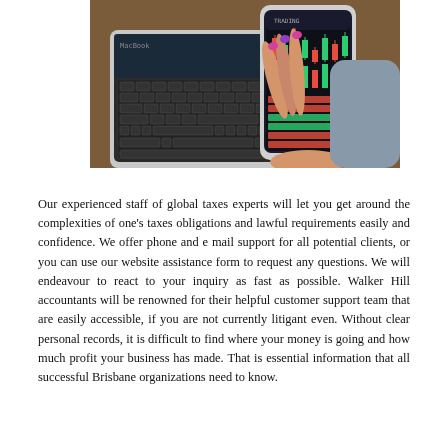[Figure (photo): Photo of a person's hands holding a smartphone displaying a stock trading app with red and green candlestick charts, above an open MacBook laptop on a wooden desk.]
Our experienced staff of global taxes experts will let you get around the complexities of one's taxes obligations and lawful requirements easily and confidence. We offer phone and e mail support for all potential clients, or you can use our website assistance form to request any questions. We will endeavour to react to your inquiry as fast as possible. Walker Hill accountants will be renowned for their helpful customer support team that are easily accessible, if you are not currently litigant even. Without clear personal records, it is difficult to find where your money is going and how much profit your business has made. That is essential information that all successful Brisbane organizations need to know.